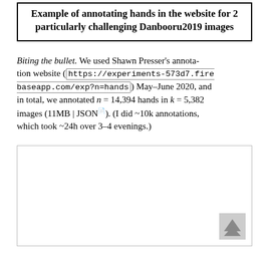Example of annotating hands in the website for 2 particularly challenging Danbooru2019 images
Biting the bullet. We used Shawn Presser's annotation website (https://experiments-573d7.firebaseapp.com/exp?n=hands) May–June 2020, and in total, we annotated n = 14,394 hands in k = 5,382 images (11MB | JSON). (I did ~10k annotations, which took ~24h over 3–4 evenings.)
[Figure (other): A large image placeholder box with a scroll-to-top icon in the bottom right corner, representing annotated Danbooru2019 images.]